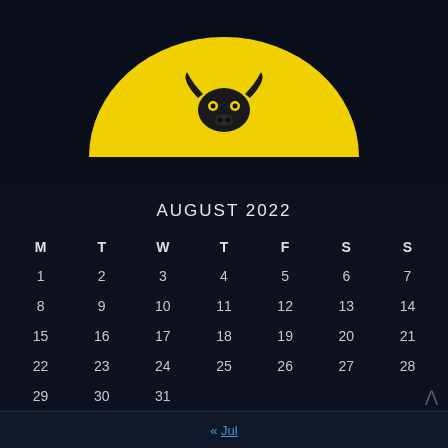MENU ≡
[Figure (logo): Sports team logo: yellow semicircle with a dark bull/bison skull icon centered on it, on a dark navy background]
AUGUST 2022
| M | T | W | T | F | S | S |
| --- | --- | --- | --- | --- | --- | --- |
| 1 | 2 | 3 | 4 | 5 | 6 | 7 |
| 8 | 9 | 10 | 11 | 12 | 13 | 14 |
| 15 | 16 | 17 | 18 | 19 | 20 | 21 |
| 22 | 23 | 24 | 25 | 26 | 27 | 28 |
| 29 | 30 | 31 |  |  |  |  |
« Jul